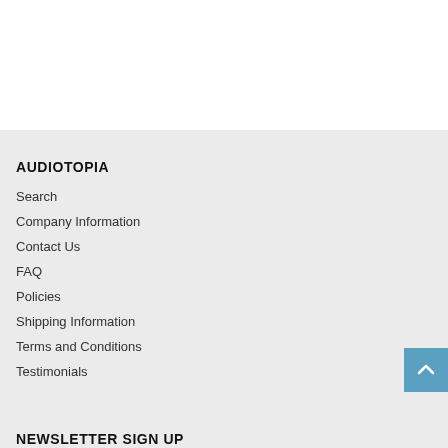AUDIOTOPIA
Search
Company Information
Contact Us
FAQ
Policies
Shipping Information
Terms and Conditions
Testimonials
NEWSLETTER SIGN UP